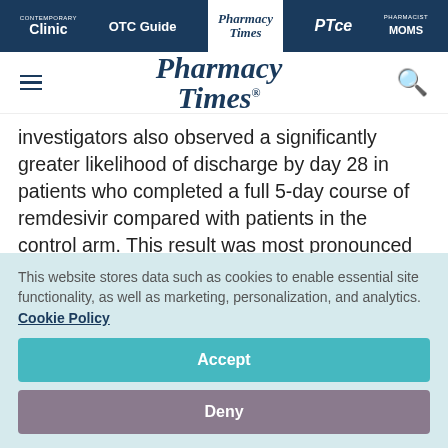Clinic | OTC Guide | Pharmacy Times | PTce | Pharmacist Moms
[Figure (logo): Pharmacy Times logo with hamburger menu and search icon]
Investigators also observed a significantly greater likelihood of discharge by day 28 in patients who completed a full 5-day course of remdesivir compared with patients in the control arm. This result was most pronounced in
This website stores data such as cookies to enable essential site functionality, as well as marketing, personalization, and analytics. Cookie Policy
Accept
Deny